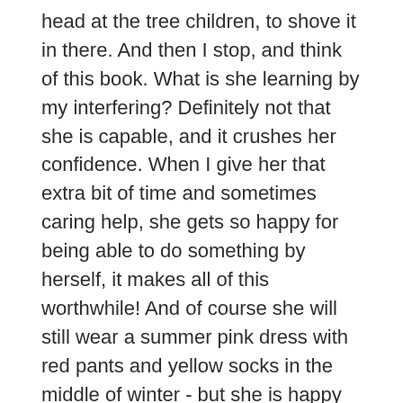head at the tree children to shove it in there. And then I stop, and think of this book. What is she learning by my interfering? Definitely not that she is capable, and it crushes her confidence. When I give her that extra bit of time and sometimes caring help, she gets so happy for being able to do something by herself, it makes all of this worthwhile! And of course she will still wear a summer pink dress with red pants and yellow socks in the middle of winter - but she is happy and I am happy this time.
Now of course all of this happen within a set of firm rules. The authors constantly stress that a child needs both kindness, as well as firmness. You want to show understanding for the emotions your child goes through while being firm in the